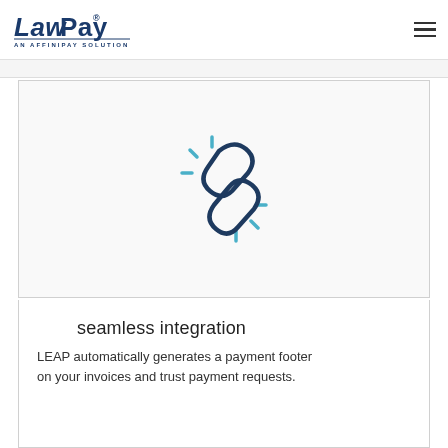LawPay — An AffiniPay Solution
[Figure (illustration): A broken chain link icon rendered in dark navy/teal outline style, with teal radiating lines on each side suggesting disconnection or linking. Centered in a light gray bordered box.]
seamless integration
LEAP automatically generates a payment footer on your invoices and trust payment requests.